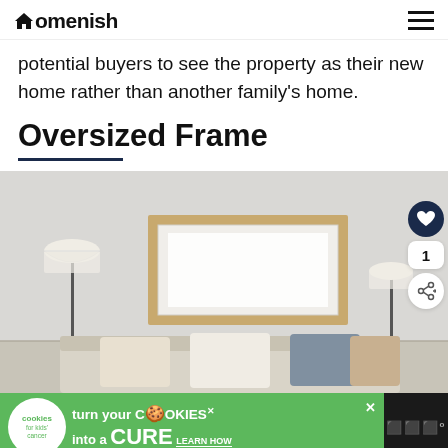Homenish
potential buyers to see the property as their new home rather than another family's home.
Oversized Frame
[Figure (photo): Living room interior with a large wood-framed empty canvas/artwork on the wall, lamps on either side, sofa with cushions in foreground]
[Figure (other): Advertisement banner: cookies for kids cancer - turn your cookies into a cure, learn how]